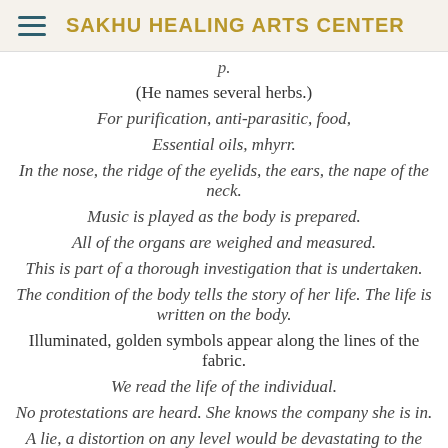SAKHU HEALING ARTS CENTER
(He names several herbs.)
For purification, anti-parasitic, food,
Essential oils, mhyrr.
In the nose, the ridge of the eyelids, the ears, the nape of the neck.
Music is played as the body is prepared.
All of the organs are weighed and measured.
This is part of a thorough investigation that is undertaken.
The condition of the body tells the story of her life. The life is written on the body.
Illuminated, golden symbols appear along the lines of the fabric.
We read the life of the individual.
No protestations are heard. She knows the company she is in.
A lie, a distortion on any level would be devastating to the